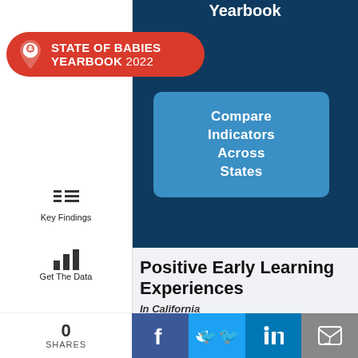Yearbook
STATE OF BABIES YEARBOOK 2022
[Figure (infographic): Blue rounded box with text: Compare Indicators Across States]
Key Findings
Get The Data
Impact Areas
Advocacy Tools
Positive Early Learning Experiences
In California
GROW
0 SHARES